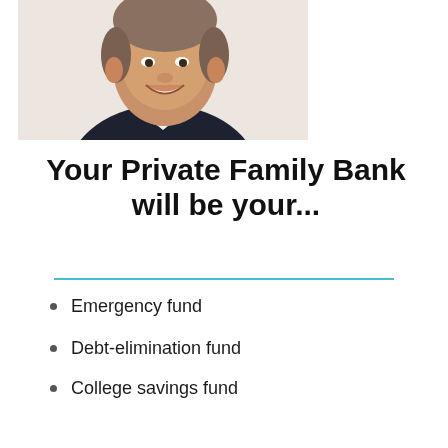[Figure (photo): Headshot of a smiling man in a dark suit and white shirt, cropped from shoulders up, with a blurred white/grey background.]
Your Private Family Bank will be your...
Emergency fund
Debt-elimination fund
College savings fund